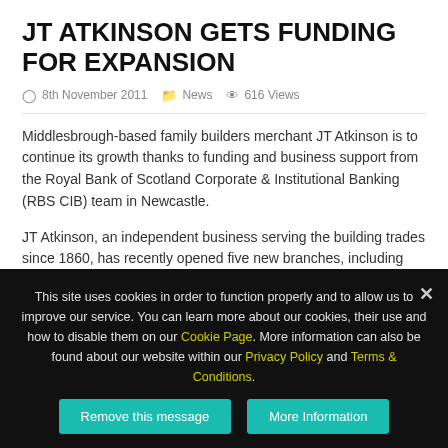JT ATKINSON GETS FUNDING FOR EXPANSION
8th November 2011   News   616 Views
Middlesbrough-based family builders merchant JT Atkinson is to continue its growth thanks to funding and business support from the Royal Bank of Scotland Corporate & Institutional Banking (RBS CIB) team in Newcastle.
JT Atkinson, an independent business serving the building trades since 1860, has recently opened five new branches, including ones in Hartlepool, Gateshead and Sunderland, taking its total to 13.
The company is now looking to add further sites to its branch
This site uses cookies in order to function properly and to allow us to improve our service. You can learn more about our cookies, their use and how to disable them on our Cookie Page. More information can also be found about our website within our Privacy Policy and Terms & Conditions.